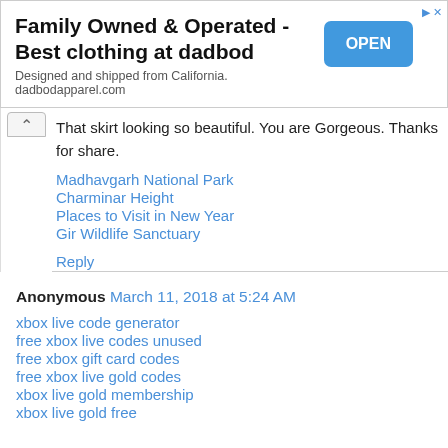[Figure (screenshot): Advertisement banner for dadbod apparel with title, subtitle, and OPEN button]
That skirt looking so beautiful. You are Gorgeous. Thanks for share.
Madhavgarh National Park
Charminar Height
Places to Visit in New Year
Gir Wildlife Sanctuary
Reply
Anonymous March 11, 2018 at 5:24 AM
xbox live code generator
free xbox live codes unused
free xbox gift card codes
free xbox live gold codes
xbox live gold membership
xbox live gold free